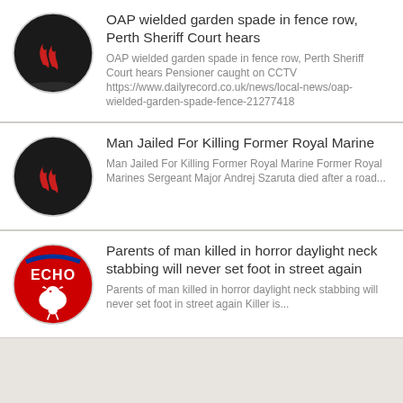[Figure (logo): Black circle with two red flame/swirl shapes]
OAP wielded garden spade in fence row, Perth Sheriff Court hears
OAP wielded garden spade in fence row, Perth Sheriff Court hears Pensioner caught on CCTV https://www.dailyrecord.co.uk/news/local-news/oap-wielded-garden-spade-fence-21277418
[Figure (logo): Black circle with two red flame/swirl shapes]
Man Jailed For Killing Former Royal Marine
Man Jailed For Killing Former Royal Marine Former Royal Marines Sergeant Major Andrej Szaruta died after a road...
[Figure (logo): Echo newspaper logo — red circle with white Liver bird and ECHO text]
Parents of man killed in horror daylight neck stabbing will never set foot in street again
Parents of man killed in horror daylight neck stabbing will never set foot in street again Killer is...